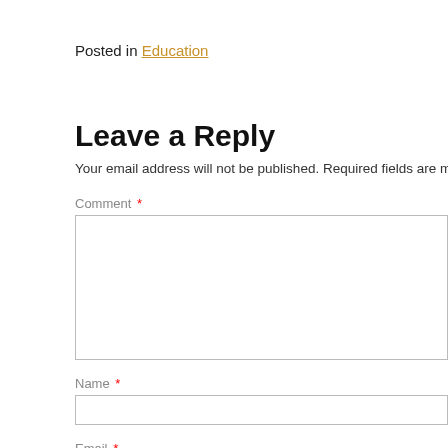Posted in Education
Leave a Reply
Your email address will not be published. Required fields are marke
Comment *
Name *
Email *
Website